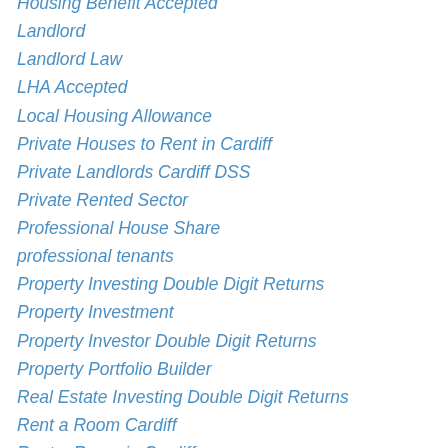Housing Benefit Accepted
Landlord
Landlord Law
LHA Accepted
Local Housing Allowance
Private Houses to Rent in Cardiff
Private Landlords Cardiff DSS
Private Rented Sector
Professional House Share
professional tenants
Property Investing Double Digit Returns
Property Investment
Property Investor Double Digit Returns
Property Portfolio Builder
Real Estate Investing Double Digit Returns
Rent a Room Cardiff
Rent a Room in Cardiff
Rent Guarantee
Rent Smart Wales
Rental Arrears